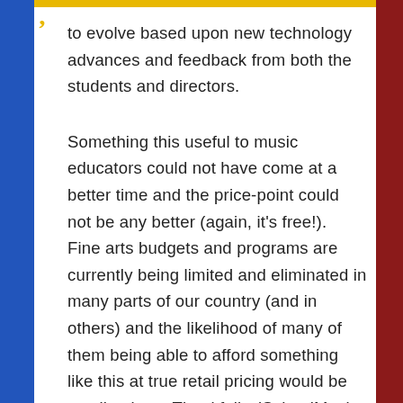to evolve based upon new technology advances and feedback from both the students and directors.
Something this useful to music educators could not have come at a better time and the price-point could not be any better (again, it's free!).   Fine arts budgets and programs are currently being limited and eliminated in many parts of our country (and in others) and the likelihood of many of them being able to afford something like this at true retail pricing would be small at best. Thankfully, iSchoolMusic is being offered at